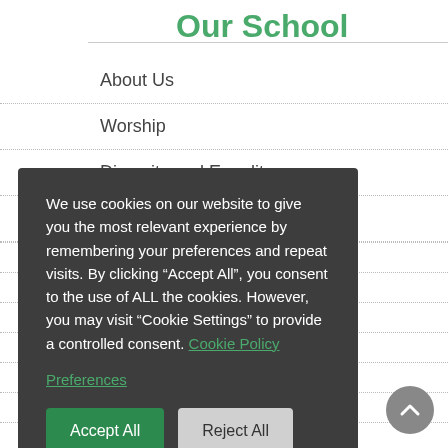Our School
About Us
Worship
Diversity and Equality
Governors
We use cookies on our website to give you the most relevant experience by remembering your preferences and repeat visits. By clicking “Accept All”, you consent to the use of ALL the cookies. However, you may visit “Cookie Settings” to provide a controlled consent. Cookie Policy
Preferences
Accept All | Reject All